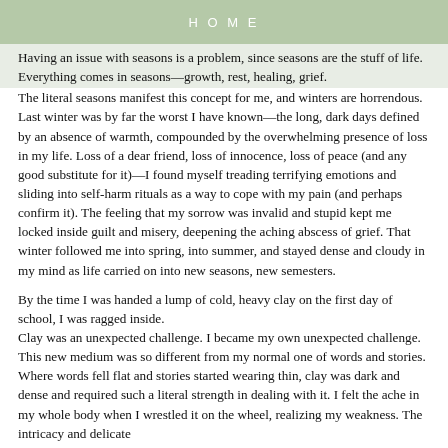HOME
Having an issue with seasons is a problem, since seasons are the stuff of life. Everything comes in seasons—growth, rest, healing, grief.
The literal seasons manifest this concept for me, and winters are horrendous. Last winter was by far the worst I have known—the long, dark days defined by an absence of warmth, compounded by the overwhelming presence of loss in my life. Loss of a dear friend, loss of innocence, loss of peace (and any good substitute for it)—I found myself treading terrifying emotions and sliding into self-harm rituals as a way to cope with my pain (and perhaps confirm it). The feeling that my sorrow was invalid and stupid kept me locked inside guilt and misery, deepening the aching abscess of grief. That winter followed me into spring, into summer, and stayed dense and cloudy in my mind as life carried on into new seasons, new semesters.
By the time I was handed a lump of cold, heavy clay on the first day of school, I was ragged inside.
Clay was an unexpected challenge. I became my own unexpected challenge. This new medium was so different from my normal one of words and stories. Where words fell flat and stories started wearing thin, clay was dark and dense and required such a literal strength in dealing with it. I felt the ache in my whole body when I wrestled it on the wheel, realizing my weakness. The intricacy and delicate